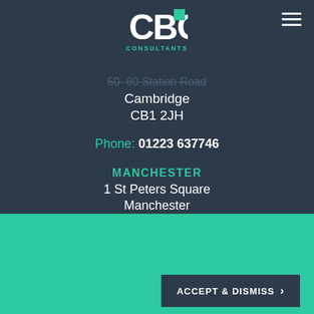[Figure (logo): CBG Consultants logo — white bold letters CBG with a teal accent square on the G, and CONSULTANTS in small teal letters below]
50–60 Station Road (strikethrough)
Cambridge
CB1 2JH
Phone: 01223 637746
MANCHESTER
1 St Peters Square
Manchester
M2 3AE
This website makes use of cookies to enhance your browsing experience.
ACCEPT & DISMISS